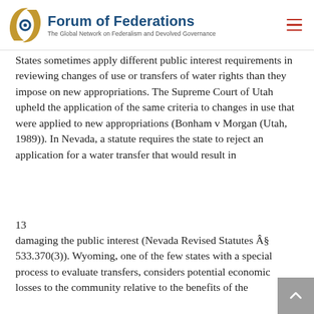Forum of Federations — The Global Network on Federalism and Devolved Governance
States sometimes apply different public interest requirements in reviewing changes of use or transfers of water rights than they impose on new appropriations. The Supreme Court of Utah upheld the application of the same criteria to changes in use that were applied to new appropriations (Bonham v Morgan (Utah, 1989)). In Nevada, a statute requires the state to reject an application for a water transfer that would result in
13
damaging the public interest (Nevada Revised Statutes § 533.370(3)). Wyoming, one of the few states with a special process to evaluate transfers, considers potential economic losses to the community relative to the benefits of the